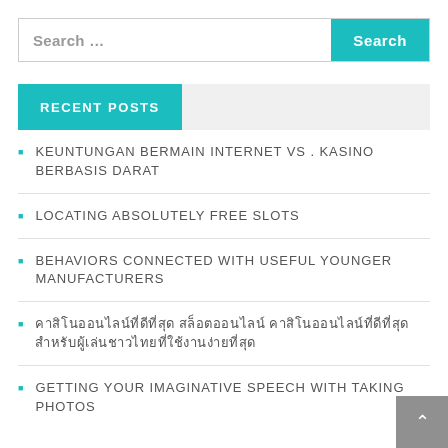Search …
RECENT POSTS
KEUNTUNGAN BERMAIN INTERNET VS . KASINO BERBASIS DARAT
LOCATING ABSOLUTELY FREE SLOTS
BEHAVIORS CONNECTED WITH USEFUL YOUNGER MANUFACTURERS
คาสิโนออนไลน์ที่ดีที่สุด สล็อตออนไลน์ คาสิโนออนไลน์ที่ดีที่สุด สำหรับผู้เล่นชาวไทยที่ใช้งานง่ายที่สุด
GETTING YOUR IMAGINATIVE SPEECH WITH TAKING PHOTOS